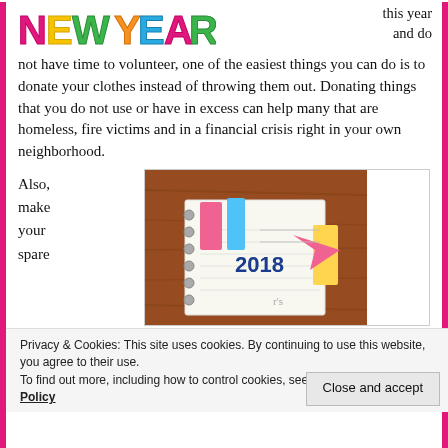[Figure (illustration): Colorful decorative text reading 'NEW YEAR!' in bubble/graffiti letters in pink, green, yellow, orange, blue]
this year and do not have time to volunteer, one of the easiest things you can do is to donate your clothes instead of throwing them out. Donating things that you do not use or have in excess can help many that are homeless, fire victims and in a financial crisis right in your own neighborhood.
Also, make your spare
[Figure (photo): Photo of a 2018 planner/notebook with colorful sticky note tabs (pink, blue, yellow, and a pink arrow) on a brown wooden background]
Privacy & Cookies: This site uses cookies. By continuing to use this website, you agree to their use.
To find out more, including how to control cookies, see here: Cookie Policy
Close and accept